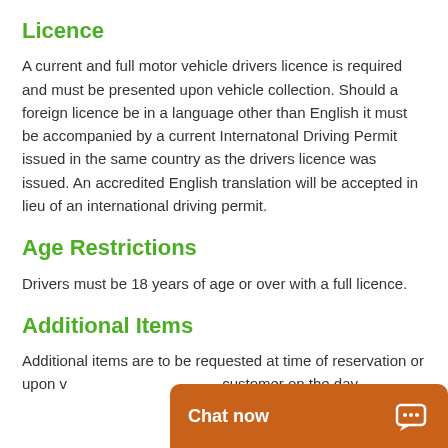Licence
A current and full motor vehicle drivers licence is required and must be presented upon vehicle collection. Should a foreign licence be in a language other than English it must be accompanied by a current Internatonal Driving Permit issued in the same country as the drivers licence was issued. An accredited English translation will be accepted in lieu of an international driving permit.
Age Restrictions
Drivers must be 18 years of age or over with a full licence.
Additional Items
Additional items are to be requested at time of reservation or upon v... customer on the day ...